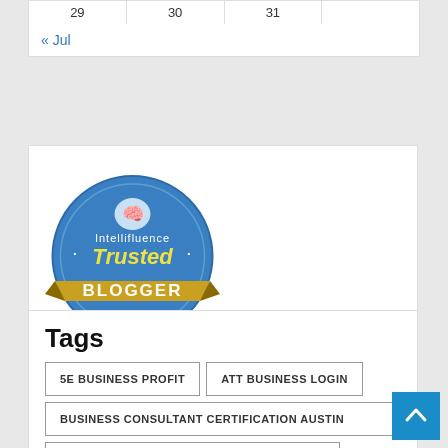| 29 | 30 | 31 |  |
« Jul
[Figure (logo): Intellifluence Trusted Blogger badge — circular blue badge with gold banner reading BLOGGER]
Tags
5E BUSINESS PROFIT
ATT BUSINESS LOGIN
BUSINESS CONSULTANT CERTIFICATION AUSTIN
BUSINESS LETTER WITH LOGO EXAMPLE
BUSINESS LOCATED EASY LOCATION